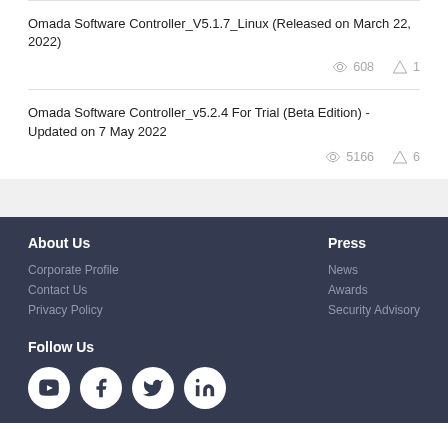Omada Software Controller_V5.1.7_Linux (Released on March 22, 2022) — 608 views, 1 reply
Omada Software Controller_v5.2.4 For Trial (Beta Edition) - Updated on 7 May 2022 — 5166 views, 6 replies
About Us
Corporate Profile
Contact Us
Privacy Policy
Press
News
Awards
Security Advisory
Follow Us
[Figure (illustration): Social media icons: YouTube, Facebook, Twitter, LinkedIn]